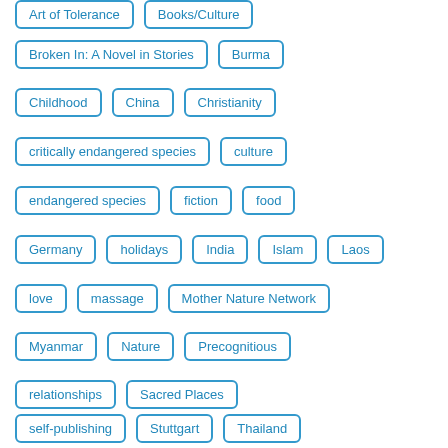Art of Tolerance
Books/Culture
Broken In: A Novel in Stories
Burma
Childhood
China
Christianity
critically endangered species
culture
endangered species
fiction
food
Germany
holidays
India
Islam
Laos
love
massage
Mother Nature Network
Myanmar
Nature
Precognitious
relationships
Sacred Places
self-publishing
Stuttgart
Thailand
The End Of The World
The Hostess